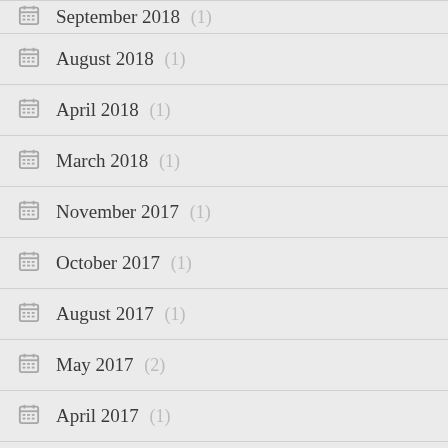September 2018 (1)
August 2018 (1)
April 2018 (1)
March 2018 (1)
November 2017 (1)
October 2017 (1)
August 2017 (1)
May 2017 (2)
April 2017 (1)
March 2017 (15)